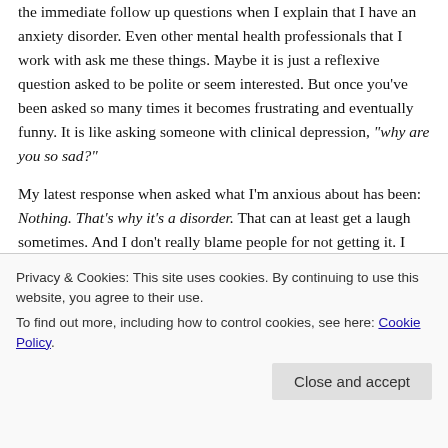the immediate follow up questions when I explain that I have an anxiety disorder. Even other mental health professionals that I work with ask me these things. Maybe it is just a reflexive question asked to be polite or seem interested. But once you've been asked so many times it becomes frustrating and eventually funny. It is like asking someone with clinical depression, "why are you so sad?"
My latest response when asked what I'm anxious about has been: Nothing. That's why it's a disorder. That can at least get a laugh sometimes. And I don't really blame people for not getting it. I struggle to understand it myself a lot of the time. I am constantly having to step back from my racing thoughts and tell
Privacy & Cookies: This site uses cookies. By continuing to use this website, you agree to their use. To find out more, including how to control cookies, see here: Cookie Policy
that I am allowed to take as long as I want. I'm not on